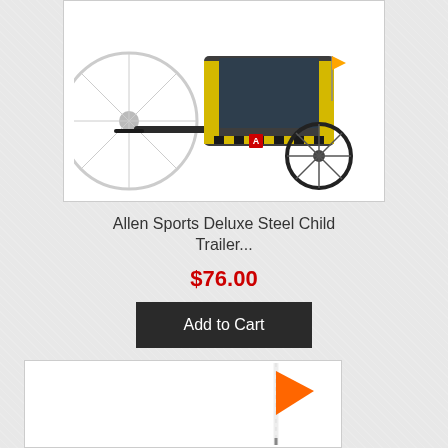[Figure (photo): Allen Sports Deluxe Steel Child Bike Trailer product photo showing a yellow and black two-seat bicycle trailer with large wheels attached to a bicycle]
Allen Sports Deluxe Steel Child Trailer...
$76.00
Add to Cart
[Figure (photo): Orange safety flag on a white pole, partially visible at bottom of page]